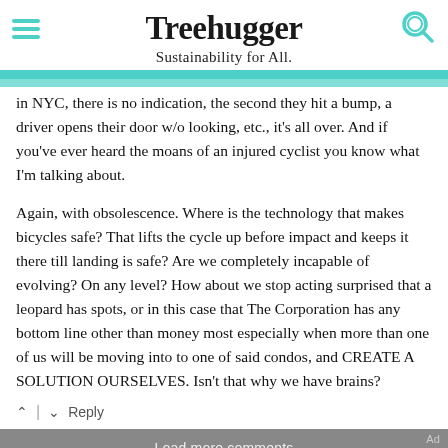Treehugger
Sustainability for All.
in NYC, there is no indication, the second they hit a bump, a driver opens their door w/o looking, etc., it's all over. And if you've ever heard the moans of an injured cyclist you know what I'm talking about.

Again, with obsolescence. Where is the technology that makes bicycles safe? That lifts the cycle up before impact and keeps it there till landing is safe? Are we completely incapable of evolving? On any level? How about we stop acting surprised that a leopard has spots, or in this case that The Corporation has any bottom line other than money most especially when more than one of us will be moving into to one of said condos, and CREATE A SOLUTION OURSELVES. Isn't that why we have brains?
^ | v  Reply
Load more comments
[Figure (screenshot): IDRV FROM iSHARES advertisement for THE SELF-DRIVING EV & TECH ETF with LEARN MORE button and Fidelity branding]